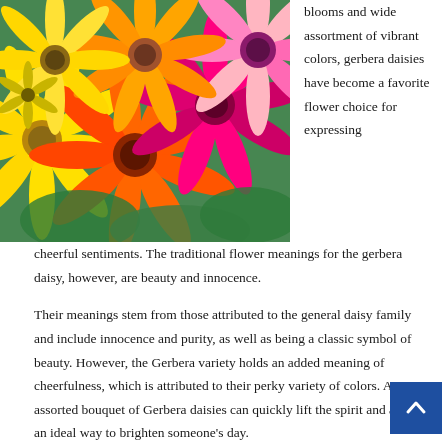[Figure (photo): A colorful bouquet of gerbera daisies in yellow, orange, pink, magenta, and green foliage]
blooms and wide assortment of vibrant colors, gerbera daisies have become a favorite flower choice for expressing cheerful sentiments. The traditional flower meanings for the gerbera daisy, however, are beauty and innocence.
Their meanings stem from those attributed to the general daisy family and include innocence and purity, as well as being a classic symbol of beauty. However, the Gerbera variety holds an added meaning of cheerfulness, which is attributed to their perky variety of colors. An assorted bouquet of Gerbera daisies can quickly lift the spirit and are an ideal way to brighten someone’s day.
The sheer multitude of available colors has helped the Gerbera daisies become a favorite choice for many different occasions from birthdays, get